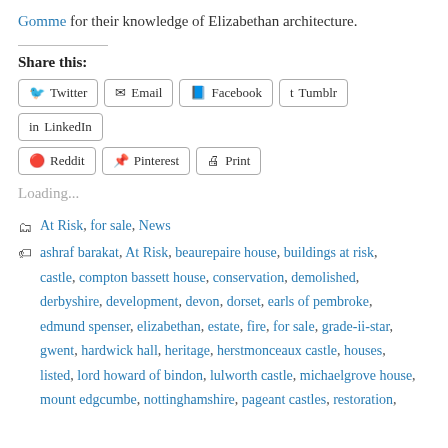Gomme for their knowledge of Elizabethan architecture.
Share this:
Twitter  Email  Facebook  Tumblr  LinkedIn  Reddit  Pinterest  Print
Loading...
At Risk, for sale, News
ashraf barakat, At Risk, beaurepaire house, buildings at risk, castle, compton bassett house, conservation, demolished, derbyshire, development, devon, dorset, earls of pembroke, edmund spenser, elizabethan, estate, fire, for sale, grade-ii-star, gwent, hardwick hall, heritage, herstmonceaux castle, houses, listed, lord howard of bindon, lulworth castle, michaelgrove house, mount edgcumbe, nottinghamshire, pageant castles, restoration,